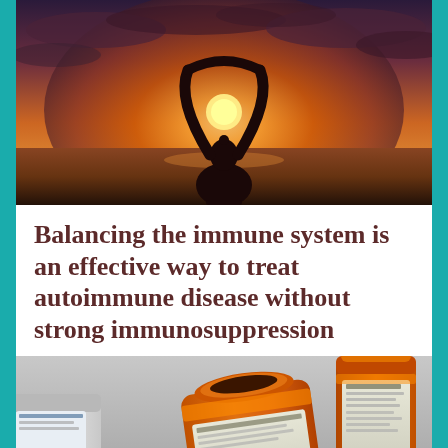[Figure (photo): Silhouette of a woman with arms raised forming a triangle above her head against a dramatic sunset sky over water]
Balancing the immune system is an effective way to treat autoimmune disease without strong immunosuppression
[Figure (photo): Prescription medicine bottles (orange/amber and white) on a gray surface, one bottle open showing an orange cap]